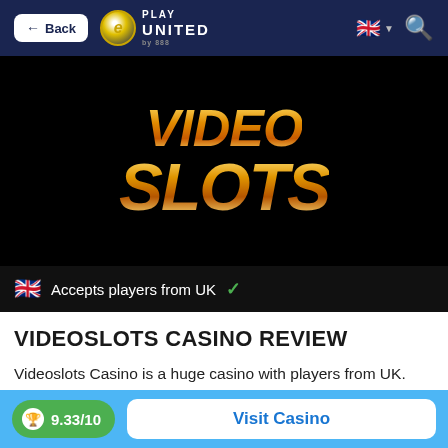← Back | PLAY UNITED
[Figure (logo): VideoSlots casino logo — stylized 3D metallic gold text reading VIDEO SLOTS on black background]
🇬🇧 Accepts players from UK ✓
VIDEOSLOTS CASINO REVIEW
Videoslots Casino is a huge casino with players from UK. After carefully reviewing and testing Videoslots Casino we have given this casino a perfect reputation rating, which is
9.33/10  Visit Casino